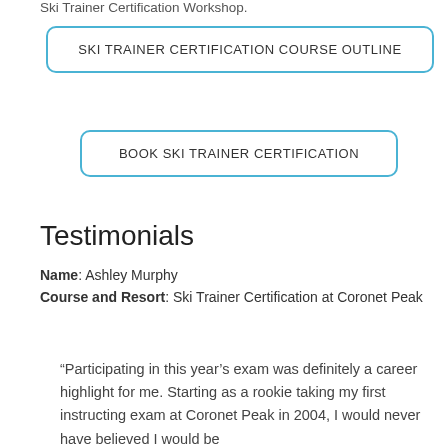Ski Trainer Certification Workshop.
SKI TRAINER CERTIFICATION COURSE OUTLINE
BOOK SKI TRAINER CERTIFICATION
Testimonials
Name: Ashley Murphy
Course and Resort: Ski Trainer Certification at Coronet Peak
“Participating in this year’s exam was definitely a career highlight for me. Starting as a rookie taking my first instructing exam at Coronet Peak in 2004, I would never have believed I would be